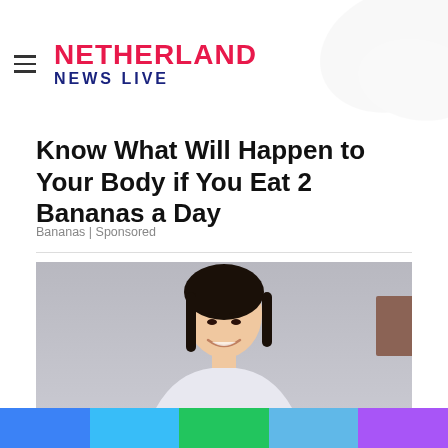NETHERLAND NEWS LIVE
[Figure (photo): Dark background with banana peels arranged on it]
Know What Will Happen to Your Body if You Eat 2 Bananas a Day
Bananas | Sponsored
[Figure (photo): Portrait of a smiling young Asian woman against a light gray background]
[Figure (infographic): Bottom color bar with five colored segments: blue, light blue, green, sky blue, purple]